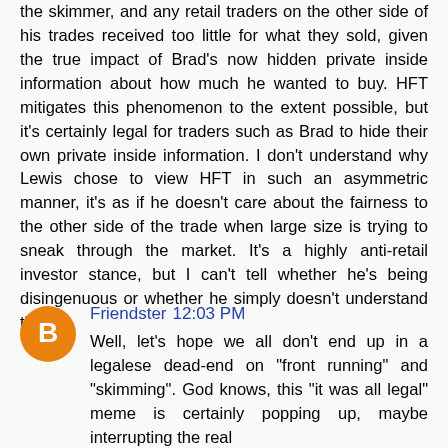the skimmer, and any retail traders on the other side of his trades received too little for what they sold, given the true impact of Brad's now hidden private inside information about how much he wanted to buy. HFT mitigates this phenomenon to the extent possible, but it's certainly legal for traders such as Brad to hide their own private inside information. I don't understand why Lewis chose to view HFT in such an asymmetric manner, it's as if he doesn't care about the fairness to the other side of the trade when large size is trying to sneak through the market. It's a highly anti-retail investor stance, but I can't tell whether he's being disingenuous or whether he simply doesn't understand this.
Friendster 12:03 PM
Well, let's hope we all don't end up in a legalese dead-end on "front running" and "skimming". God knows, this "it was all legal" meme is certainly popping up, maybe interrupting the real